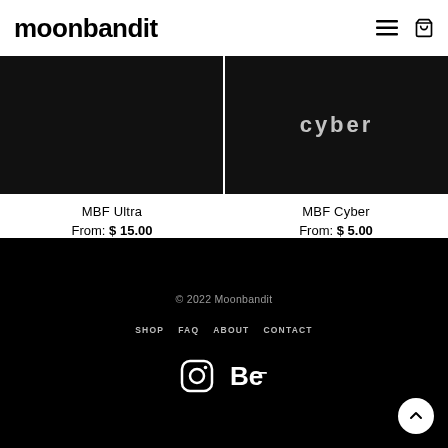moonbandit
[Figure (photo): Two product images side by side on black background: left is MBF Ultra (plain black), right is MBF Cyber (black with 'cyber' text)]
MBF Ultra
From: $ 15.00
MBF Cyber
From: $ 5.00
© 2022 Moonbandit
SHOP  FAQ  ABOUT  CONTACT